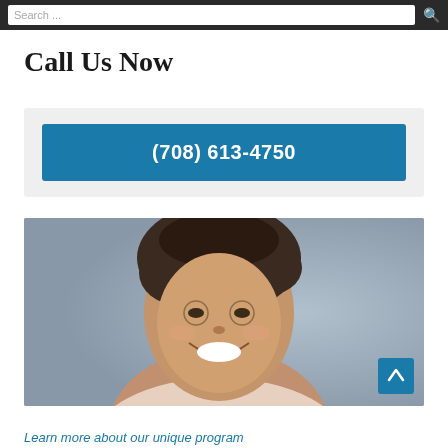Search ...
Call Us Now
(708) 613-4750
[Figure (photo): Portrait of a smiling young woman with curly hair pulled up, wearing a light pink top, photographed against a grey background.]
Learn more about our unique program